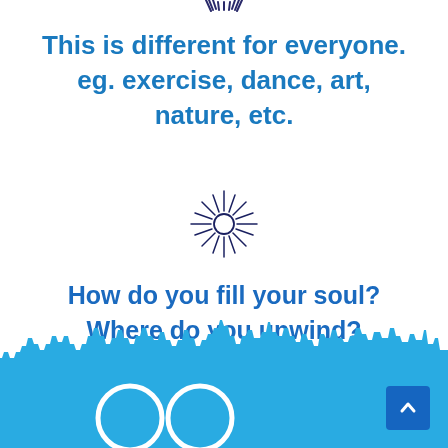[Figure (illustration): Partial sunburst/sound wave icon at the very top center of the page, partially cropped]
This is different for everyone. eg. exercise, dance, art, nature, etc.
[Figure (illustration): Dark blue sunburst/starburst icon in the center of the page]
How do you fill your soul? Where do you unwind?
[Figure (illustration): Blue skyline/cityscape silhouette at the bottom of the page with two circular speech bubble outlines and a scroll-to-top button]